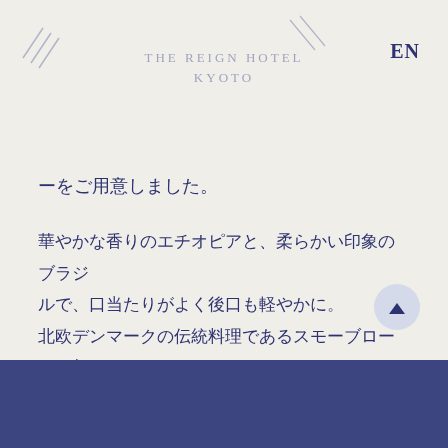THE REIGN HOTEL KYOTO
EN
ーをご用意しました。
華やかな香りのエチオピアと、柔らかい印象のブラジルで、口当たりがよく後口も軽やかに。北欧デンマークの伝統料理であるスモーブローとも相性抜群です。
We have prepared REIGN original blended coffee with a Scandinavian taste under t... supervision of Olaf...